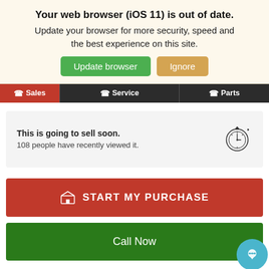Your web browser (iOS 11) is out of date.
Update your browser for more security, speed and the best experience on this site.
Update browser | Ignore
Sales | Service | Parts
This is going to sell soon. 108 people have recently viewed it.
START MY PURCHASE
Call Now